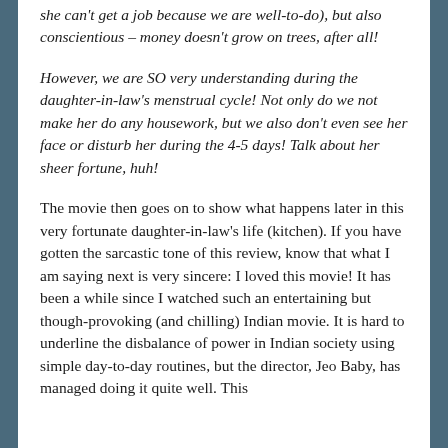she can't get a job because we are well-to-do), but also conscientious – money doesn't grow on trees, after all!
However, we are SO very understanding during the daughter-in-law's menstrual cycle! Not only do we not make her do any housework, but we also don't even see her face or disturb her during the 4-5 days! Talk about her sheer fortune, huh!
The movie then goes on to show what happens later in this very fortunate daughter-in-law's life (kitchen). If you have gotten the sarcastic tone of this review, know that what I am saying next is very sincere: I loved this movie! It has been a while since I watched such an entertaining but though-provoking (and chilling) Indian movie. It is hard to underline the disbalance of power in Indian society using simple day-to-day routines, but the director, Jeo Baby, has managed doing it quite well. This